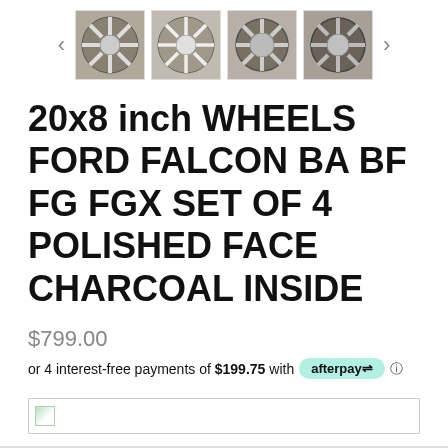[Figure (photo): Row of 4 thumbnail images of car wheels (alloy rims, polished face charcoal), with left and right navigation arrows]
20x8 inch WHEELS FORD FALCON BA BF FG FGX SET OF 4 POLISHED FACE CHARCOAL INSIDE
$799.00
or 4 interest-free payments of $199.75 with afterpay ℹ
[Figure (screenshot): Bottom bar with small image icon, appears to be a product image strip or navigation bar]